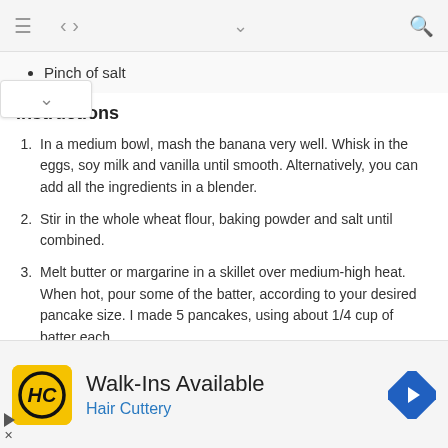Navigation bar with menu, share, chevron, and search icons
Pinch of salt
Instructions
In a medium bowl, mash the banana very well. Whisk in the eggs, soy milk and vanilla until smooth. Alternatively, you can add all the ingredients in a blender.
Stir in the whole wheat flour, baking powder and salt until combined.
Melt butter or margarine in a skillet over medium-high heat. When hot, pour some of the batter, according to your desired pancake size. I made 5 pancakes, using about 1/4 cup of batter each.
[Figure (screenshot): Advertisement banner for Hair Cuttery with yellow HC logo, text Walk-Ins Available, Hair Cuttery in blue, and a blue diamond arrow icon]